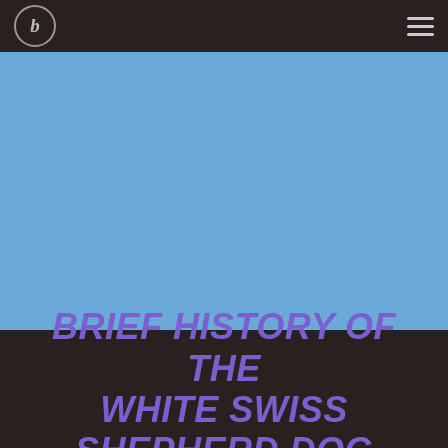[Figure (logo): Circular logo with italic letter in top-left navigation bar]
[Figure (illustration): Blue hero image background area]
Brief History of the White Swiss Shepherd Dog